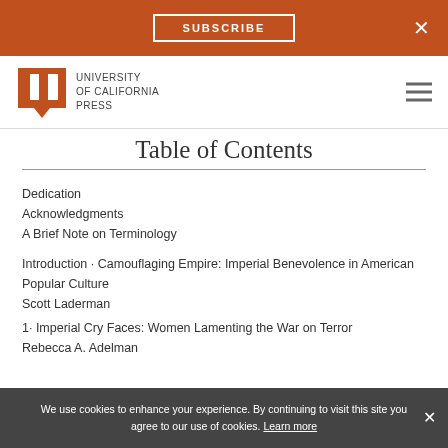SUBSCRIBE  ×
[Figure (logo): University of California Press logo with stylized open book icon and text: UNIVERSITY of CALIFORNIA PRESS]
Table of Contents
Dedication
Acknowledgments
A Brief Note on Terminology
Introduction · Camouflaging Empire: Imperial Benevolence in American Popular Culture
Scott Laderman
1· Imperial Cry Faces: Women Lamenting the War on Terror
Rebecca A. Adelman
We use cookies to enhance your experience. By continuing to visit this site you agree to our use of cookies. Learn more  ×